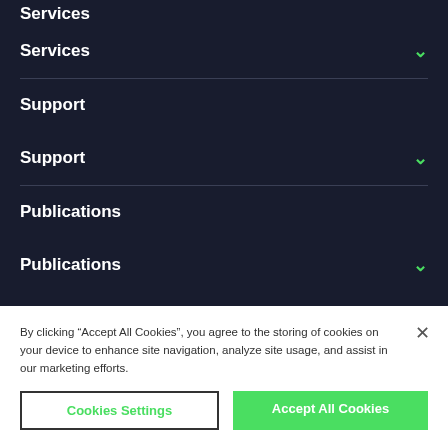Services
Services
Support
Support
Publications
Publications
By clicking “Accept All Cookies”, you agree to the storing of cookies on your device to enhance site navigation, analyze site usage, and assist in our marketing efforts.
Cookies Settings
Accept All Cookies